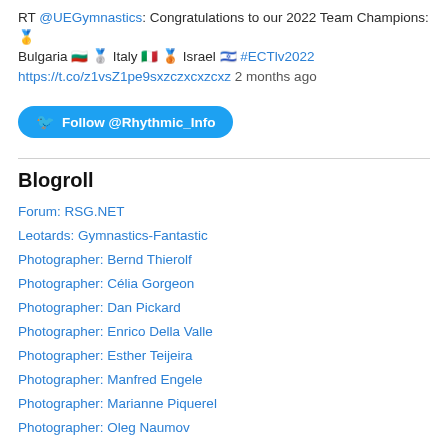RT @UEGymnastics: Congratulations to our 2022 Team Champions: 🥇 Bulgaria 🇧🇬 🥈 Italy 🇮🇹 🥉 Israel 🇮🇱 #ECTlv2022 https://t.co/z1vsZ1pe9sxzczxcxzcxz 2 months ago
[Figure (other): Twitter Follow button: Follow @Rhythmic_Info]
Blogroll
Forum: RSG.NET
Leotards: Gymnastics-Fantastic
Photographer: Bernd Thierolf
Photographer: Célia Gorgeon
Photographer: Dan Pickard
Photographer: Enrico Della Valle
Photographer: Esther Teijeira
Photographer: Manfred Engele
Photographer: Marianne Piquerel
Photographer: Oleg Naumov